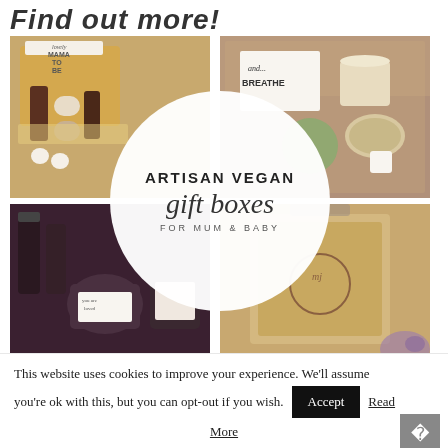Find out more!
[Figure (photo): Four-quadrant photo collage of artisan vegan gift boxes for mum and baby, with a circular white overlay in the center reading 'ARTISAN VEGAN gift boxes FOR MUM & BABY'. Top-left: kraft box with straw fill and various bottled products. Top-right: wellness products with a card reading 'and... BREATHE'. Bottom-left: purple/dark bottles and labeled jars with a 'you are loved' tag. Bottom-right: kraft paper mailer bag with logo stamp.]
This website uses cookies to improve your experience. We'll assume you're ok with this, but you can opt-out if you wish. Accept Read More